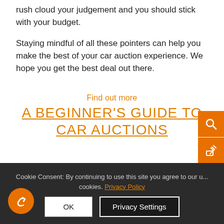rush cloud your judgement and you should stick with your budget.
Staying mindful of all these pointers can help you make the best of your car auction experience. We hope you get the best deal out there.
Find out more
A BEGINNER'S GUIDE TO CAR AUCTIONS
Cookie Consent: By continuing to use this site you agree to our use of cookies. Privacy Policy  [OK] [Privacy Settings]